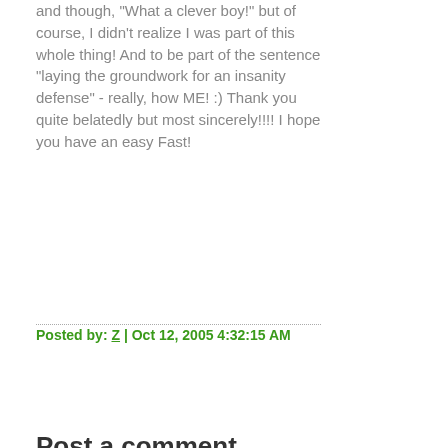and though, "What a clever boy!" but of course, I didn't realize I was part of this whole thing! And to be part of the sentence "laying the groundwork for an insanity defense" - really, how ME! :) Thank you quite belatedly but most sincerely!!!! I hope you have an easy Fast!
Posted by: Z | Oct 12, 2005 4:32:15 AM
Post a comment